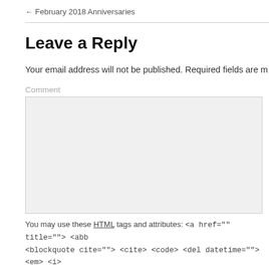← February 2018 Anniversaries
Leave a Reply
Your email address will not be published. Required fields are m
Comment
[Figure (other): Comment text input box, large grey rectangle for user input]
You may use these HTML tags and attributes: <a href="" title=""> <abb <blockquote cite=""> <cite> <code> <del datetime=""> <em> <i>
Name *